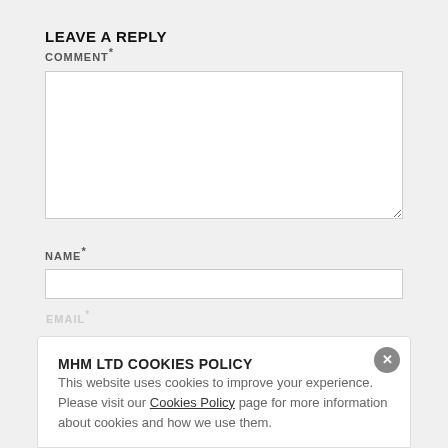LEAVE A REPLY
COMMENT*
NAME*
EMAIL*
MHM LTD COOKIES POLICY
This website uses cookies to improve your experience. Please visit our Cookies Policy page for more information about cookies and how we use them.